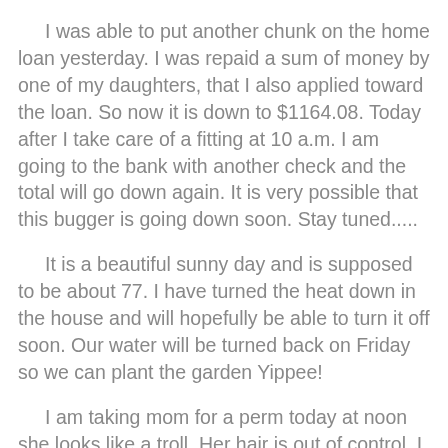I was able to put another chunk on the home loan yesterday.  I was repaid a sum of money by one of my daughters, that I also applied toward the loan.  So now it is down to $1164.08.  Today after I take care of a fitting at 10 a.m. I am going to the bank with another check and the total will go down again.  It is very possible that this bugger is going down soon.  Stay tuned.....
It is a beautiful sunny day and is supposed to be about 77.  I have turned the heat down in the house and will hopefully be able to turn it off soon.  Our water will be turned back on Friday so we can plant the garden Yippee!
I am taking mom for a perm today at noon she looks like a troll.  Her hair is out of control, I told her I was going to put a bone in it if she didn't go to the salon.
Well I am off to get to work, I got a light I am chasing and I think it is at the end of a tunnel.
Have a great and productive day, staying positive while you